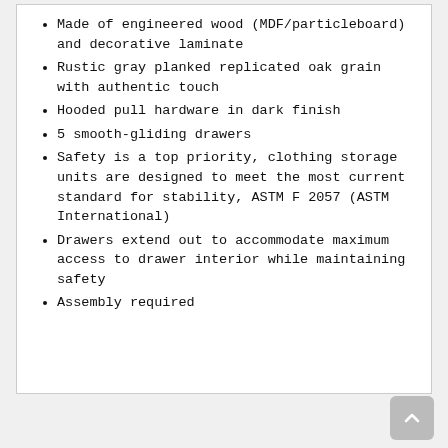Made of engineered wood (MDF/particleboard) and decorative laminate
Rustic gray planked replicated oak grain with authentic touch
Hooded pull hardware in dark finish
5 smooth-gliding drawers
Safety is a top priority, clothing storage units are designed to meet the most current standard for stability, ASTM F 2057 (ASTM International)
Drawers extend out to accommodate maximum access to drawer interior while maintaining safety
Assembly required